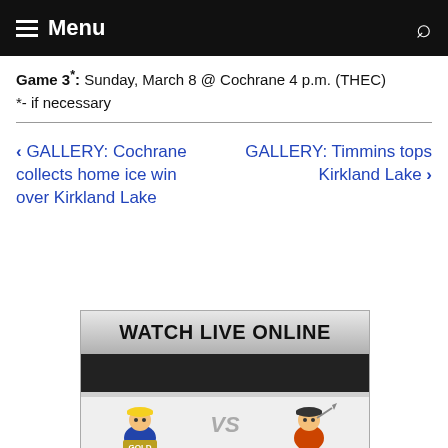Menu
Game 3*: Sunday, March 8 @ Cochrane 4 p.m. (THEC)
*- if necessary
< GALLERY: Cochrane collects home ice win over Kirkland Lake
GALLERY: Timmins tops Kirkland Lake >
[Figure (other): Watch Live Online banner with two hockey mascots and VS text]